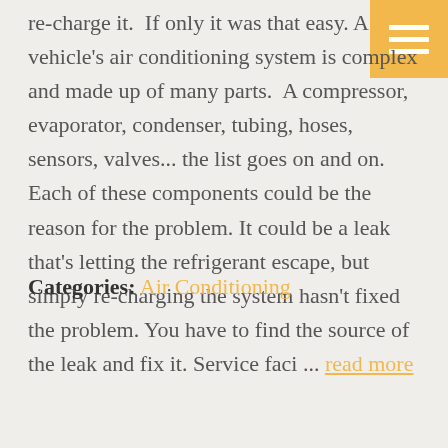re-charge it.  If only it was that easy. A vehicle's air conditioning system is complex and made up of many parts.  A compressor, evaporator, condenser, tubing, hoses, sensors, valves... the list goes on and on. Each of these components could be the reason for the problem. It could be a leak that's letting the refrigerant escape, but simply re-charging the system hasn't fixed the problem. You have to find the source of the leak and fix it. Service faci ... read more
Categories: Air Conditioning